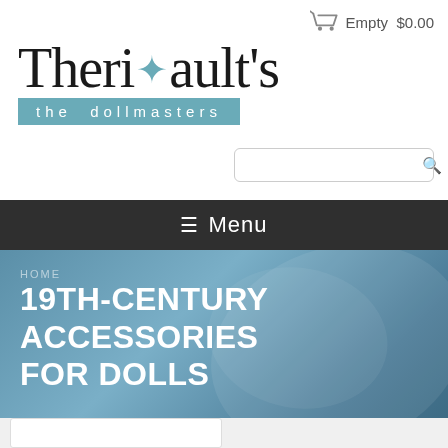[Figure (logo): Theriault's the dollmasters logo with fleur-de-lis accent and blue banner subtitle]
Empty  $0.00
[Figure (other): Search bar with magnifying glass icon]
≡ Menu
HOME
19TH-CENTURY ACCESSORIES FOR DOLLS